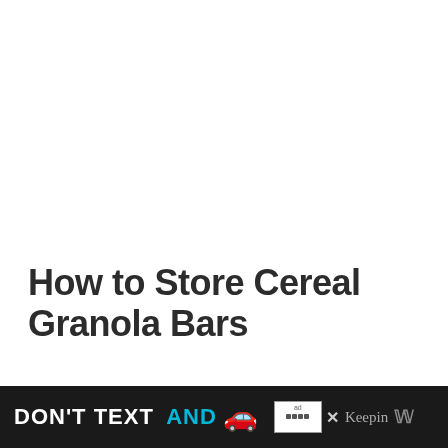How to Store Cereal Granola Bars
These bars stay solid at room temperature
[Figure (other): Advertisement banner: dark background with yellow bold text 'DON'T TEXT' and cyan bold text 'AND' followed by a red car emoji, an 'ad' NHTSA logo box with close button, and a streaming service logo on the right.]